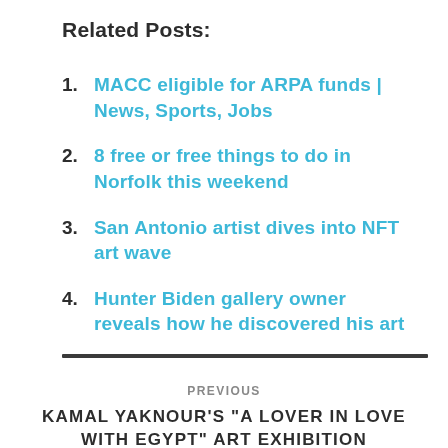Related Posts:
MACC eligible for ARPA funds | News, Sports, Jobs
8 free or free things to do in Norfolk this weekend
San Antonio artist dives into NFT art wave
Hunter Biden gallery owner reveals how he discovered his art
PREVIOUS
KAMAL YAKNOUR'S "A LOVER IN LOVE WITH EGYPT" ART EXHIBITION LAUNCHES AT AL-